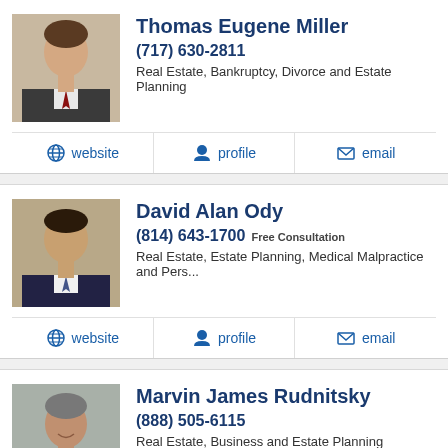[Figure (photo): Headshot photo of Thomas Eugene Miller, a middle-aged man in a suit]
Thomas Eugene Miller
(717) 630-2811
Real Estate, Bankruptcy, Divorce and Estate Planning
website   profile   email
[Figure (photo): Headshot photo of David Alan Ody, a middle-aged man in a suit]
David Alan Ody
(814) 643-1700 Free Consultation
Real Estate, Estate Planning, Medical Malpractice and Pers...
website   profile   email
[Figure (photo): Headshot photo of Marvin James Rudnitsky, a man in a suit]
Marvin James Rudnitsky
(888) 505-6115
Real Estate, Business and Estate Planning